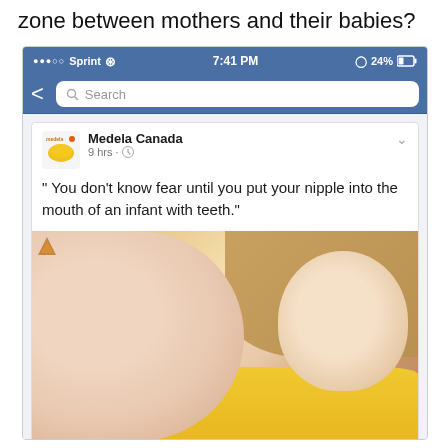zone between mothers and their babies?
[Figure (screenshot): Screenshot of a Facebook post from Medela Canada showing a quote 'You don't know fear until you put your nipple into the mouth of an infant with teeth.' with an image of a baby breastfeeding. The phone shows Sprint carrier, 7:41 PM, 24% battery.]